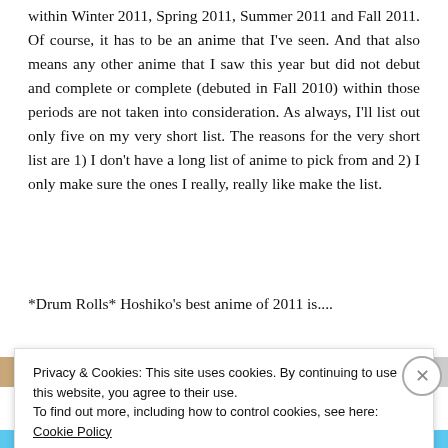within Winter 2011, Spring 2011, Summer 2011 and Fall 2011. Of course, it has to be an anime that I've seen. And that also means any other anime that I saw this year but did not debut and complete or complete (debuted in Fall 2010) within those periods are not taken into consideration. As always, I'll list out only five on my very short list. The reasons for the very short list are 1) I don't have a long list of anime to pick from and 2) I only make sure the ones I really, really like make the list.
*Drum Rolls* Hoshiko's best anime of 2011 is....
[Figure (photo): Partial image bar with photo and dark blue 'LEARN MORE' button]
Privacy & Cookies: This site uses cookies. By continuing to use this website, you agree to their use.
To find out more, including how to control cookies, see here: Cookie Policy